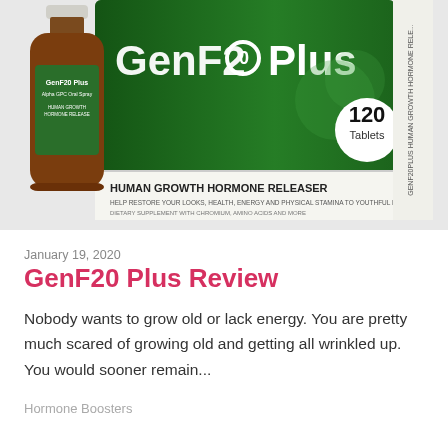[Figure (photo): Product photo showing a brown glass bottle of GenF20 Plus Alpha GPC Oral Spray on the left and a green box of GenF20 Plus Human Growth Hormone Releaser 120 Tablets on the right against a light background.]
January 19, 2020
GenF20 Plus Review
Nobody wants to grow old or lack energy. You are pretty much scared of growing old and getting all wrinkled up. You would sooner remain...
Hormone Boosters